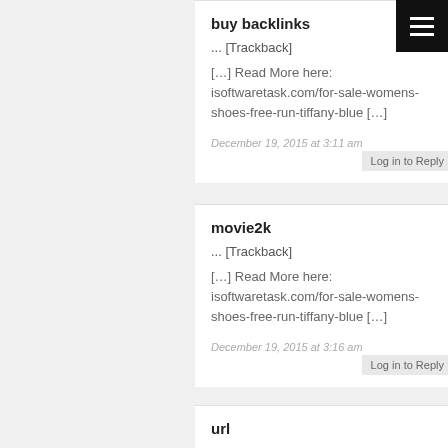[Figure (other): Hamburger menu icon, white lines on black background, top right corner]
buy backlinks
... [Trackback]
[…] Read More here: isoftwaretask.com/for-sale-womens-shoes-free-run-tiffany-blue […]
December 19, 2015 at 3:11 am
Log in to Reply
movie2k
... [Trackback]
[…] Read More here: isoftwaretask.com/for-sale-womens-shoes-free-run-tiffany-blue […]
December 19, 2015 at 3:16 am
Log in to Reply
url
... [Trackback]